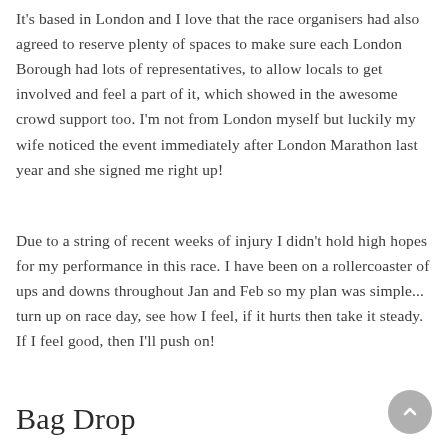It's based in London and I love that the race organisers had also agreed to reserve plenty of spaces to make sure each London Borough had lots of representatives, to allow locals to get involved and feel a part of it, which showed in the awesome crowd support too. I'm not from London myself but luckily my wife noticed the event immediately after London Marathon last year and she signed me right up!
Due to a string of recent weeks of injury I didn't hold high hopes for my performance in this race. I have been on a rollercoaster of ups and downs throughout Jan and Feb so my plan was simple... turn up on race day, see how I feel, if it hurts then take it steady. If I feel good, then I'll push on!
Bag Drop